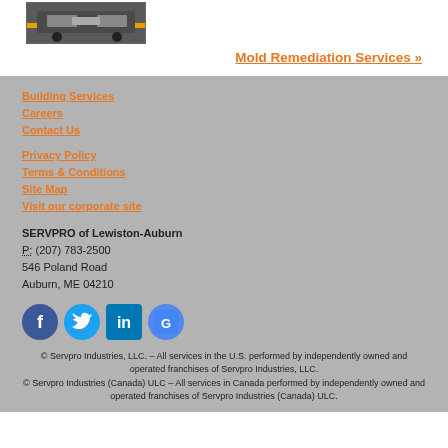[Figure (photo): Front grille of a truck vehicle, dark/grey tones]
Mold Remediation Services »
Building Services
Careers
Contact Us
Privacy Policy
Terms & Conditions
Site Map
Visit our corporate site
SERVPRO of Lewiston-Auburn
P: (207) 783-2500
546 Poland Road
Auburn, ME 04210
[Figure (illustration): Social media icons: Facebook, Twitter, LinkedIn, Google Maps]
© Servpro Industries, LLC. – All services in the U.S. performed by independently owned and operated franchises of Servpro Industries, LLC.
© Servpro Industries (Canada) ULC – All services in Canada performed by independently owned and operated franchises of Servpro Industries (Canada) ULC.